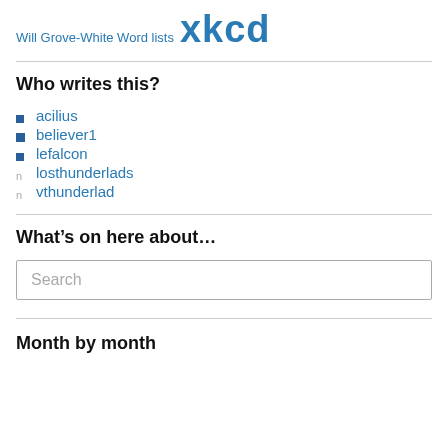Will Grove-White Word lists xkcd
Who writes this?
acilius
believer1
lefalcon
losthunderlads
vthunderlad
What’s on here about…
Search
Month by month